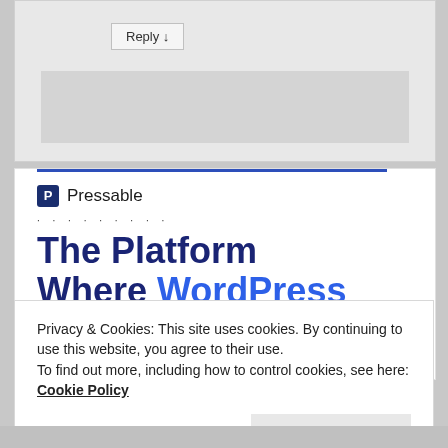[Figure (screenshot): Reply button in a light gray comment/form area at the top of the page]
[Figure (logo): Pressable logo with blue square P icon followed by the word Pressable, with a blue horizontal line above and dotted separator below]
The Platform Where WordPress Works Best
Privacy & Cookies: This site uses cookies. By continuing to use this website, you agree to their use.
To find out more, including how to control cookies, see here: Cookie Policy
Close and accept